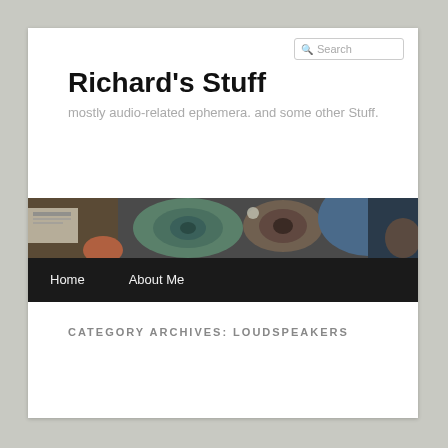Search
Richard's Stuff
mostly audio-related ephemera. and some other Stuff.
[Figure (photo): Banner photo showing audio equipment, speakers, and people at what appears to be an audio exhibition or show]
Home   About Me
CATEGORY ARCHIVES: LOUDSPEAKERS